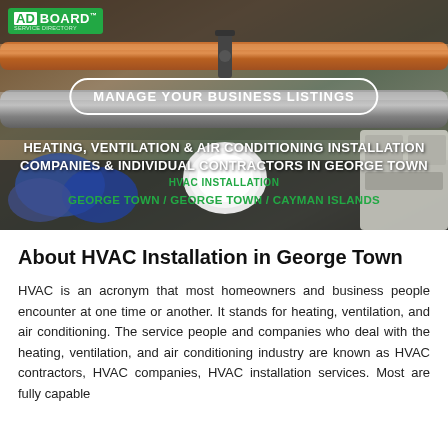[Figure (photo): Hero banner showing HVAC copper pipes and equipment with a green background photo. Contains ADBOARD logo, 'Manage Your Business Listings' button, and overlay text about HVAC installation services in George Town.]
About HVAC Installation in George Town
HVAC is an acronym that most homeowners and business people encounter at one time or another. It stands for heating, ventilation, and air conditioning. The service people and companies who deal with the heating, ventilation, and air conditioning industry are known as HVAC contractors, HVAC companies, HVAC installation services. Most are fully capable